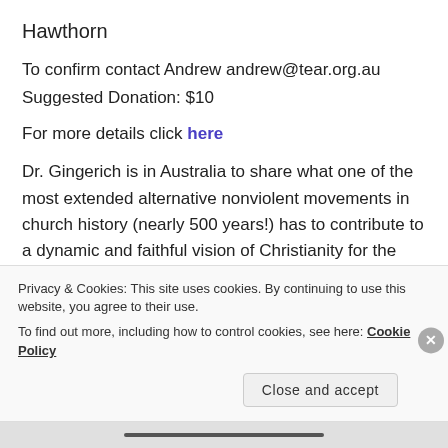Hawthorn
To confirm contact Andrew andrew@tear.org.au
Suggested Donation: $10
For more details click here
Dr. Gingerich is in Australia to share what one of the most extended alternative nonviolent movements in church history (nearly 500 years!) has to contribute to a dynamic and faithful vision of Christianity for the 21st century. Come prepared to have your understanding of atonement, mission, church, the gospel and God
Privacy & Cookies: This site uses cookies. By continuing to use this website, you agree to their use.
To find out more, including how to control cookies, see here: Cookie Policy
Close and accept